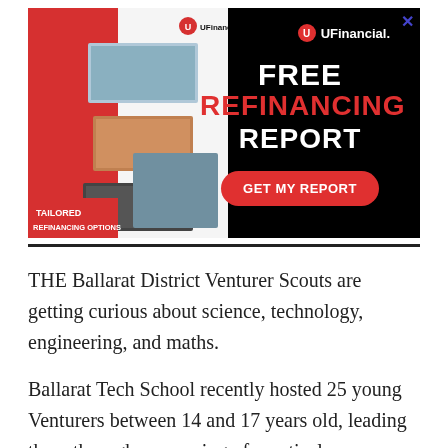[Figure (illustration): UFinancial advertisement banner with black background. Left side shows a red and white brochure with photos and text 'TAILORED REFINANCING OPTIONS'. Right side shows UFinancial logo, text 'FREE REFINANCING REPORT' and a red CTA button 'GET MY REPORT'. A close X button appears top right of the banner.]
THE Ballarat District Venturer Scouts are getting curious about science, technology, engineering, and maths.
Ballarat Tech School recently hosted 25 young Venturers between 14 and 17 years old, leading them through an evening of practical,